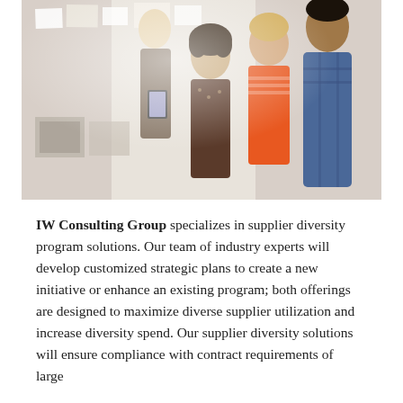[Figure (photo): Four people in a bright creative workspace looking upward, one holding a tablet, one holding papers, standing near a wall with pinned photos and notes.]
IW Consulting Group specializes in supplier diversity program solutions. Our team of industry experts will develop customized strategic plans to create a new initiative or enhance an existing program; both offerings are designed to maximize diverse supplier utilization and increase diversity spend. Our supplier diversity solutions will ensure compliance with contract requirements of large